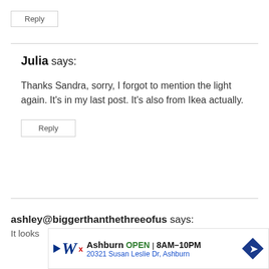Reply
Julia says:
Thanks Sandra, sorry, I forgot to mention the light again. It's in my last post. It's also from Ikea actually.
Reply
ashley@biggerthanthethreeofus says:
It looks
[Figure (screenshot): Walgreens advertisement banner showing Ashburn store open 8AM–10PM at 20321 Susan Leslie Dr, Ashburn with Walgreens logo and diamond arrow icon]